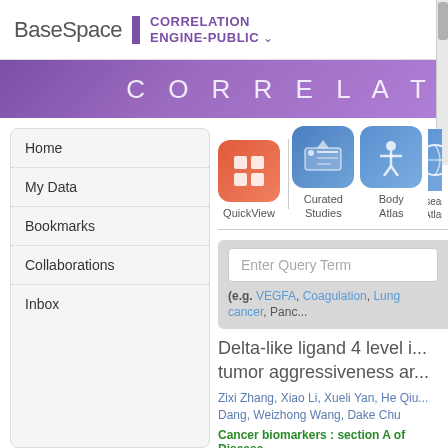BaseSpace | CORRELATION ENGINE-PUBLIC
[Figure (screenshot): Purple gradient banner with text CORRELAT (truncated)]
Home
My Data
Bookmarks
Collaborations
Inbox
[Figure (screenshot): App icons row: QuickView (red), Curated Studies (blue), Body Atlas (blue), Disease Atlas (blue, partial)]
Enter Query Term
(e.g. VEGFA, Coagulation, Lung cancer, Panc...
Delta-like ligand 4 level i... tumor aggressiveness ar...
Zixi Zhang, Xiao Li, Xueli Yan, He Qiu... Dang, Weizhong Wang, Dake Chu
Cancer biomarkers : section A of Disease...
Import Your Data
Literature
FAQ
• What criteria does